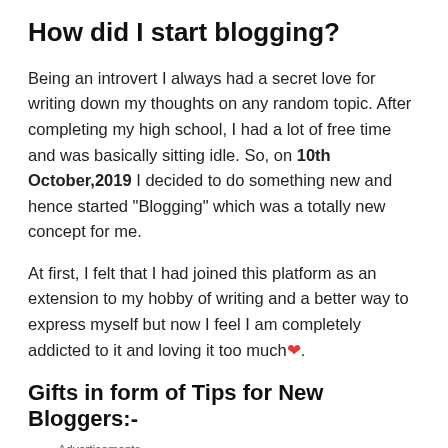How did I start blogging?
Being an introvert I always had a secret love for writing down my thoughts on any random topic. After completing my high school, I had a lot of free time and was basically sitting idle. So, on 10th October,2019 I decided to do something new and hence started "Blogging" which was a totally new concept for me.
At first, I felt that I had joined this platform as an extension to my hobby of writing and a better way to express myself but now I feel I am completely addicted to it and loving it too much❤.
Gifts in form of Tips for New Bloggers:-
[Figure (other): WooCommerce advertisement banner: purple background with WooCommerce logo, teal arrow, grey area with text 'How to start selling subscriptions online', and orange accent. Labeled 'Advertisements' above.]